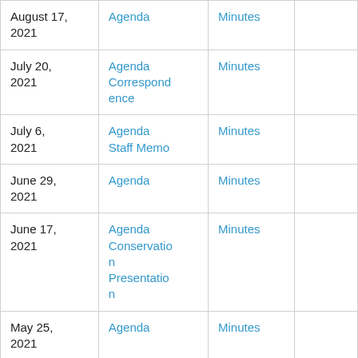| Date | Documents | Minutes |  |
| --- | --- | --- | --- |
| August 17, 2021 | Agenda | Minutes |  |
| July 20, 2021 | Agenda
Correspondence | Minutes |  |
| July 6, 2021 | Agenda
Staff Memo | Minutes |  |
| June 29, 2021 | Agenda | Minutes |  |
| June 17, 2021 | Agenda
Conservation Presentation | Minutes |  |
| May 25, 2021 | Agenda | Minutes |  |
| April 27, ... | Agenda | Minutes |  |